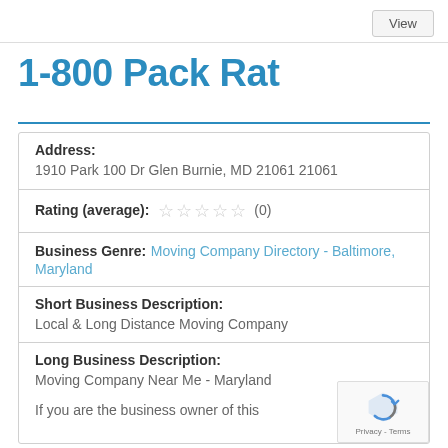View
1-800 Pack Rat
| Address: | 1910 Park 100 Dr Glen Burnie, MD 21061 21061 |
| Rating (average): | ☆ ☆ ☆ ☆ ☆ (0) |
| Business Genre: | Moving Company Directory - Baltimore, Maryland |
| Short Business Description: | Local & Long Distance Moving Company |
| Long Business Description: | Moving Company Near Me - Maryland

If you are the business owner of this |